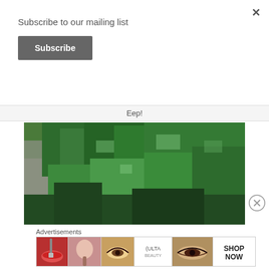Subscribe to our mailing list
Subscribe
Eep!
[Figure (photo): Aerial view of a dense green forest with trees and rocky terrain]
Advertisements
[Figure (photo): Ulta Beauty advertisement banner with cosmetics imagery and SHOP NOW call to action]